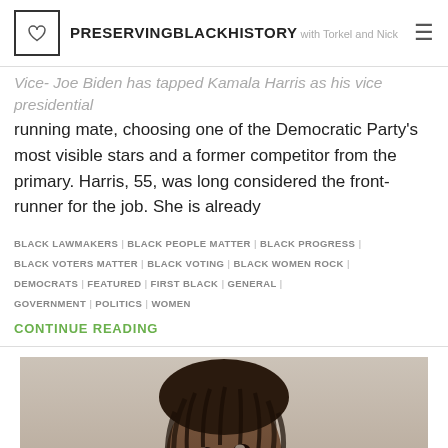PRESERVINGBLACKHISTORY with Torkel and Nick
Vice - Joe Biden has tapped Kamala Harris as his vice presidential running mate, choosing one of the Democratic Party's most visible stars and a former competitor from the primary. Harris, 55, was long considered the front-runner for the job. She is already
BLACK LAWMAKERS | BLACK PEOPLE MATTER | BLACK PROGRESS | BLACK VOTERS MATTER | BLACK VOTING | BLACK WOMEN ROCK | DEMOCRATS | FEATURED | FIRST BLACK | GENERAL | GOVERNMENT | POLITICS | WOMEN
CONTINUE READING
[Figure (photo): Portrait photo of a Black woman with locs, wearing professional attire, looking upward and to the left, photographed against a neutral background]